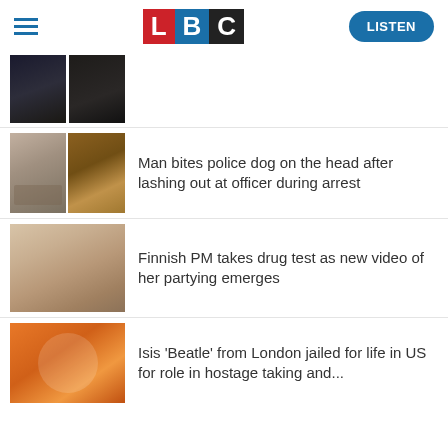LBC — LISTEN
[Figure (photo): Three-panel thumbnail strip showing dark figures/people]
[Figure (photo): Split thumbnail: bearded man on left, police dog on right]
Man bites police dog on the head after lashing out at officer during arrest
[Figure (photo): Blonde woman close-up portrait]
Finnish PM takes drug test as new video of her partying emerges
[Figure (photo): Person in orange hat, close-up]
Isis 'Beatle' from London jailed for life in US for role in hostage taking and...